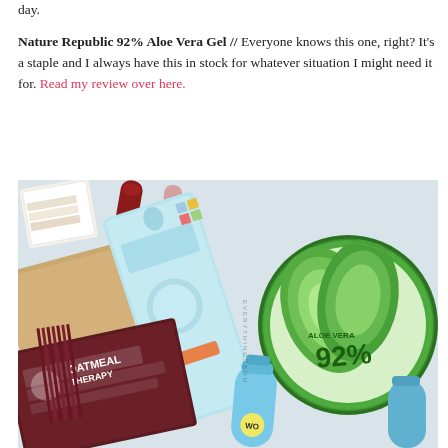day.
Nature Republic 92% Aloe Vera Gel // Everyone knows this one, right? It's a staple and I always have this in stock for whatever situation I might need it for. Read my review over here.
[Figure (photo): Flat lay photo of Korean skincare products on a white surface including: Derma Angel acne patch box (light blue), Nature Republic 92% Aloe Vera Gel (round green tub), Oatmeal Therapy sheet mask (dark red packaging), a blue toner/liquid bottle, and other assorted skincare items.]